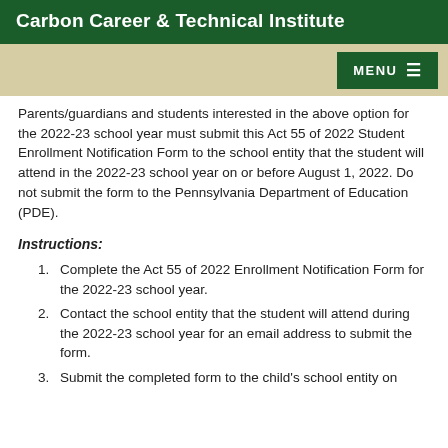Carbon Career & Technical Institute
Parents/guardians and students interested in the above option for the 2022-23 school year must submit this Act 55 of 2022 Student Enrollment Notification Form to the school entity that the student will attend in the 2022-23 school year on or before August 1, 2022. Do not submit the form to the Pennsylvania Department of Education (PDE).
Instructions:
Complete the Act 55 of 2022 Enrollment Notification Form for the 2022-23 school year.
Contact the school entity that the student will attend during the 2022-23 school year for an email address to submit the form.
Submit the completed form to the child's school entity on